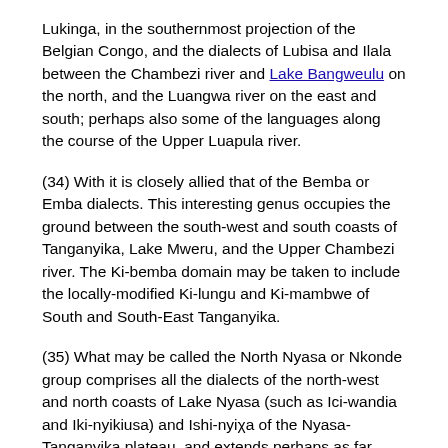Lukinga, in the southernmost projection of the Belgian Congo, and the dialects of Lubisa and Ilala between the Chambezi river and Lake Bangweulu on the north, and the Luangwa river on the east and south; perhaps also some of the languages along the course of the Upper Luapula river.
(34) With it is closely allied that of the Bemba or Emba dialects. This interesting genus occupies the ground between the south-west and south coasts of Tanganyika, Lake Mweru, and the Upper Chambezi river. The Ki-bemba domain may be taken to include the locally-modified Ki-lungu and Ki-mambwe of South and South-East Tanganyika.
(35) What may be called the North Nyasa or Nkonde group comprises all the dialects of the north-west and north coasts of Lake Nyasa (such as Ici-wandia and Iki-nyikiusa) and Ishi-nyixa of the Nyasa-Tanganyika plateau, and extends perhaps as far north west as the Fipa country (Iki-fipa), and the shores of Lake Rukwa (Ici-wungu) in the vicinity of the Nyamwezi domain (No. 11). Iki-fipa, however, has some affinities to the Tanganyika and western Victoria-Nyanza languages (groups Nos. 1 and 12).